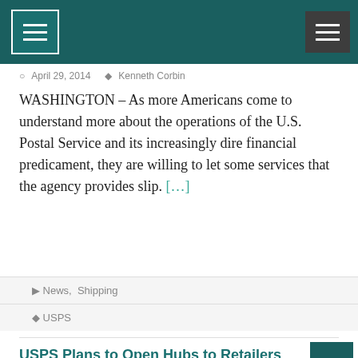[Figure (other): Navigation header bar with teal background, hamburger menu icon on left with white border box, and dark hamburger menu icon on right]
April 29, 2014  Kenneth Corbin
WASHINGTON – As more Americans come to understand more about the operations of the U.S. Postal Service and its increasingly dire financial predicament, they are willing to let some services that the agency provides slip. [...]
News,  Shipping
USPS
USPS Plans to Open Hubs to Retailers Competing with Amazon
April 15, 2014  Kenneth Corbin